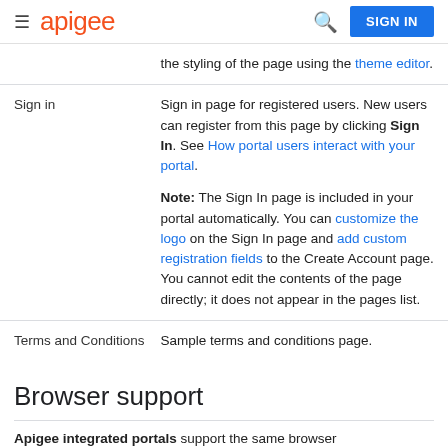apigee  SIGN IN
|  | the styling of the page using the theme editor. |
| Sign in | Sign in page for registered users. New users can register from this page by clicking Sign In. See How portal users interact with your portal.

Note: The Sign In page is included in your portal automatically. You can customize the logo on the Sign In page and add custom registration fields to the Create Account page. You cannot edit the contents of the page directly; it does not appear in the pages list. |
| Terms and Conditions | Sample terms and conditions page. |
Browser support
Apigee integrated portals support the same browser